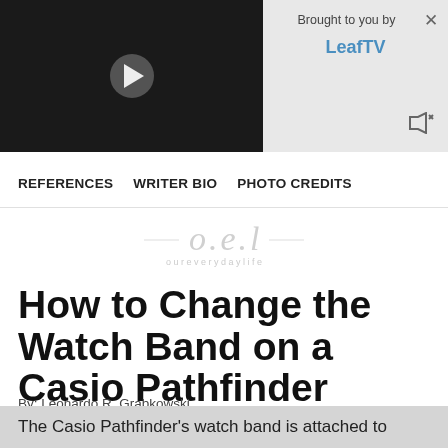[Figure (screenshot): Video player with black background and white play button triangle in center]
Brought to you by LeafTV
REFERENCES   WRITER BIO   PHOTO CREDITS
[Figure (logo): oureverydaylife (o.e.l) script logo in light gray]
How to Change the Watch Band on a Casio Pathfinder
By: Leonardo R. Grabkowski
Updated On: September 28, 2017
The Casio Pathfinder's watch band is attached to